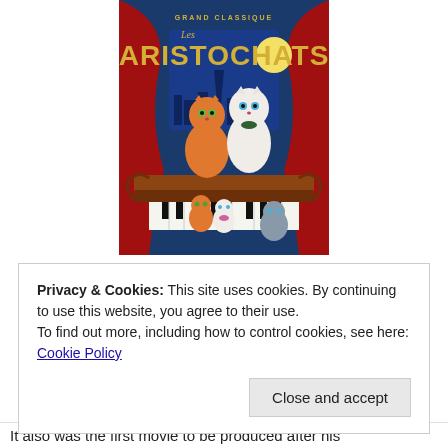[Figure (illustration): DVD/Blu-ray cover art for 'Les Aristochats' (The Aristocats) - a Disney Grand Classique. Features animated cats on a piano with red curtains and a moonlit Paris background. Title reads 'Les ARISTOCHATS' in large gold lettering.]
Privacy & Cookies: This site uses cookies. By continuing to use this website, you agree to their use.
To find out more, including how to control cookies, see here: Cookie Policy
Close and accept
It also was the first movie to be produced after his